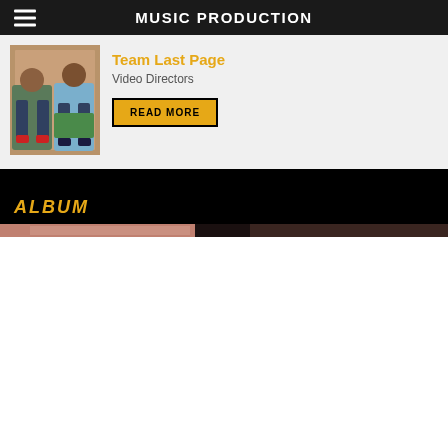MUSIC PRODUCTION
[Figure (photo): Two men sitting together, one in a blue jacket with hands folded, another in a light blue shirt, colorful background with wooden door]
Team Last Page
Video Directors
READ MORE
ALBUM
[Figure (photo): Album image strip partially visible, dark tones]